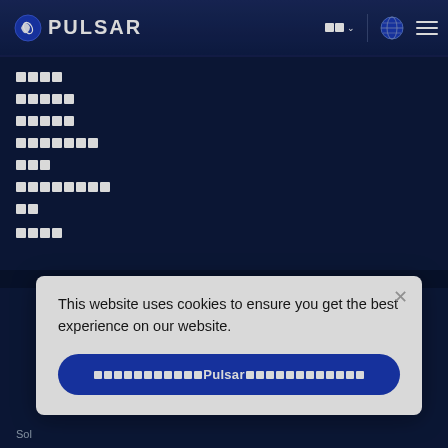PULSAR navigation header with logo, language selector, globe icon, and hamburger menu
████
█████
█████
███████
███
████████
██
████
This website uses cookies to ensure you get the best experience on our website.
██████████Pulsar████████████
Sol